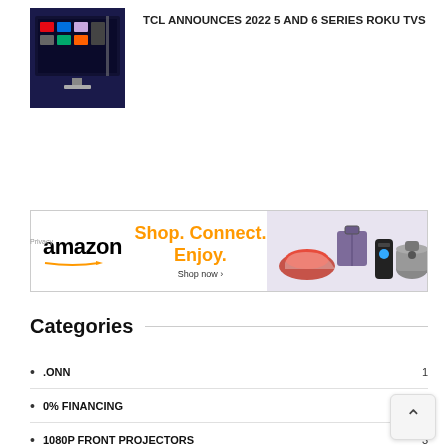[Figure (photo): TV/Roku device promotional image with dark background showing streaming service icons]
TCL ANNOUNCES 2022 5 AND 6 SERIES ROKU TVS
[Figure (infographic): Amazon advertisement banner: Shop. Connect. Enjoy. Shop now - with Amazon logo and product images]
Categories
.ONN 1
0% FINANCING 2
1080P FRONT PROJECTORS 3
10G 1
2020 TOKYO SUMMER OLYMPICS
2160P 808